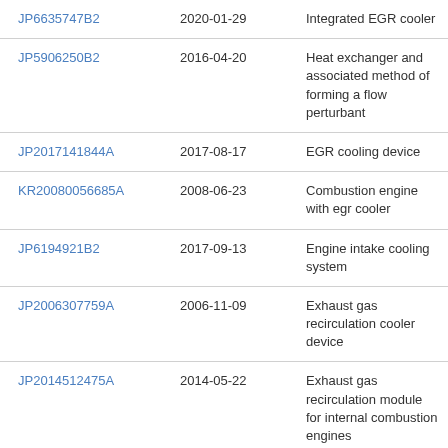| JP6635747B2 | 2020-01-29 | Integrated EGR cooler |
| JP5906250B2 | 2016-04-20 | Heat exchanger and associated method of forming a flow perturbant |
| JP2017141844A | 2017-08-17 | EGR cooling device |
| KR20080056685A | 2008-06-23 | Combustion engine with egr cooler |
| JP6194921B2 | 2017-09-13 | Engine intake cooling system |
| JP2006307759A | 2006-11-09 | Exhaust gas recirculation cooler device |
| JP2014512475A | 2014-05-22 | Exhaust gas recirculation module for internal combustion engines |
| US9228484B2 | 2016-01-05 | Engine fluid cooling assembly |